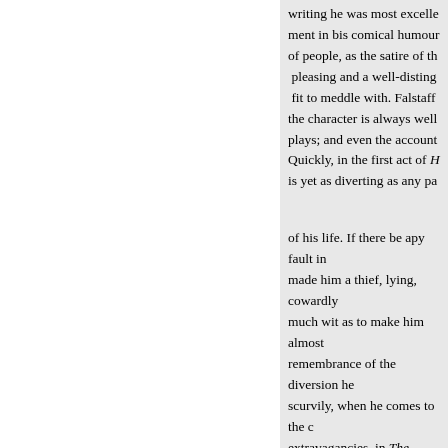writing he was most excellent ment in bis comical humour of people, as the satire of th pleasing and a well-disting fit to meddle with. Falstaff the character is always well plays; and even the account Quickly, in the first act of H is yet as diverting as any pa
of his life. If there be apy fault in made him a thief, lying, cowardly much wit as to make him almost remembrance of the diversion he scurvily, when he comes to the c extravagancies, in The Merry Wi time remember bijst Warwickshi near the same court of arms whic
1
1
« Zurück